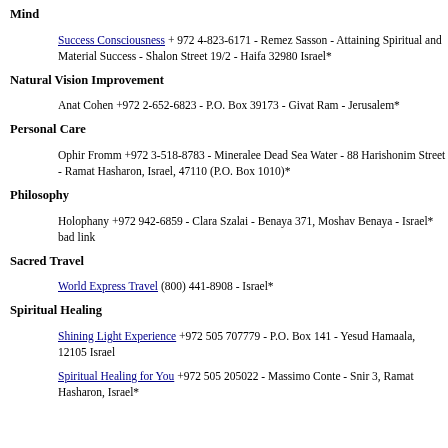tourists)
Mind
Success Consciousness + 972 4-823-6171 - Remez Sasson - Attaining Spiritual and Material Success - Shalon Street 19/2 - Haifa 32980 Israel*
Natural Vision Improvement
Anat Cohen +972 2-652-6823 - P.O. Box 39173 - Givat Ram - Jerusalem*
Personal Care
Ophir Fromm +972 3-518-8783 - Mineralee Dead Sea Water - 88 Harishonim Street - Ramat Hasharon, Israel, 47110 (P.O. Box 1010)*
Philosophy
Holophany +972 942-6859 - Clara Szalai - Benaya 371, Moshav Benaya - Israel* bad link
Sacred Travel
World Express Travel (800) 441-8908 - Israel*
Spiritual Healing
Shining Light Experience +972 505 707779 - P.O. Box 141 - Yesud Hamaala, 12105 Israel
Spiritual Healing for You +972 505 205022 - Massimo Conte - Snir 3, Ramat Hasharon, Israel*